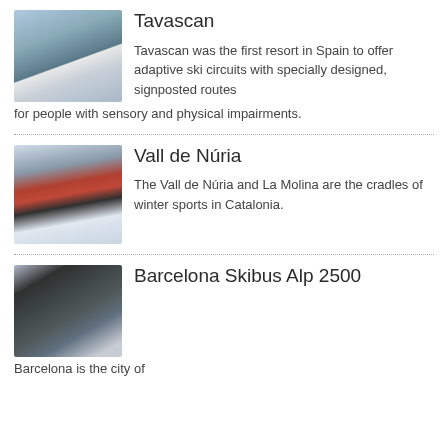Tavascan
[Figure (photo): Person in ski gear sitting in snowy mountain setting]
Tavascan was the first resort in Spain to offer adaptive ski circuits with specially designed, signposted routes for people with sensory and physical impairments.
Vall de Núria
[Figure (photo): Two skiers in red and black jackets skiing in snowy forest landscape]
The Vall de Núria and La Molina are the cradles of winter sports in Catalonia.
Barcelona Skibus Alp 2500
[Figure (photo): Person in ski helmet and goggles taking selfie with another person at ski resort]
Barcelona is the city of